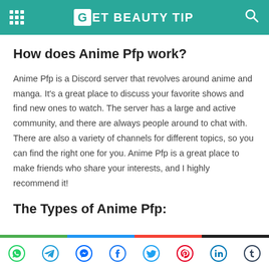GET BEAUTY TIP
How does Anime Pfp work?
Anime Pfp is a Discord server that revolves around anime and manga. It's a great place to discuss your favorite shows and find new ones to watch. The server has a large and active community, and there are always people around to chat with. There are also a variety of channels for different topics, so you can find the right one for you. Anime Pfp is a great place to make friends who share your interests, and I highly recommend it!
The Types of Anime Pfp:
Social share icons: WhatsApp, Telegram, Messenger, Facebook, Twitter, Pinterest, LinkedIn, Tumblr